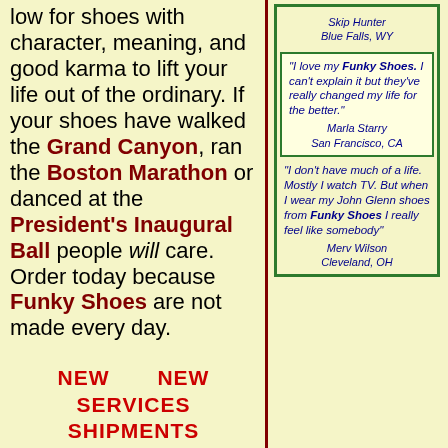low for shoes with character, meaning, and good karma to lift your life out of the ordinary. If your shoes have walked the Grand Canyon, ran the Boston Marathon or danced at the President's Inaugural Ball people will care. Order today because Funky Shoes are not made every day.
NEW SERVICES   NEW SHIPMENTS
Skip Hunter Blue Falls, WY
"I love my Funky Shoes. I can't explain it but they've really changed my life for the better." Marla Starry San Francisco, CA
"I don't have much of a life. Mostly I watch TV. But when I wear my John Glenn shoes from Funky Shoes I really feel like somebody" Merv Wilson Cleveland, OH